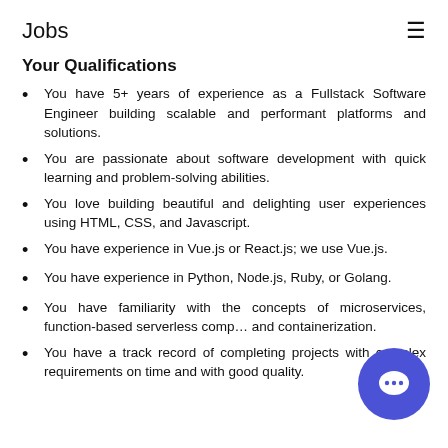Jobs
Your Qualifications
You have 5+ years of experience as a Fullstack Software Engineer building scalable and performant platforms and solutions.
You are passionate about software development with quick learning and problem-solving abilities.
You love building beautiful and delighting user experiences using HTML, CSS, and Javascript.
You have experience in Vue.js or React.js; we use Vue.js.
You have experience in Python, Node.js, Ruby, or Golang.
You have familiarity with the concepts of microservices, function-based serverless comp… and containerization.
You have a track record of completing projects with complex requirements on time and with good quality.